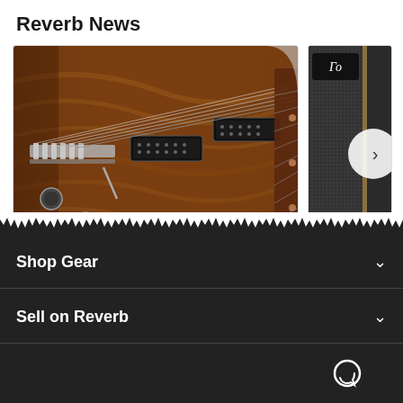Reverb News
[Figure (photo): Close-up photo of a Suhr electric guitar body showing flame maple top, pickups, tremolo bridge, and part of the fretboard]
A Brief History of Suhr Guitars
GEAR HISTORY
[Figure (photo): Partial view of a guitar amplifier speaker cabinet with a right-arrow navigation button overlay]
The Continuing Speaker Cabine
Shop Gear
Sell on Reverb